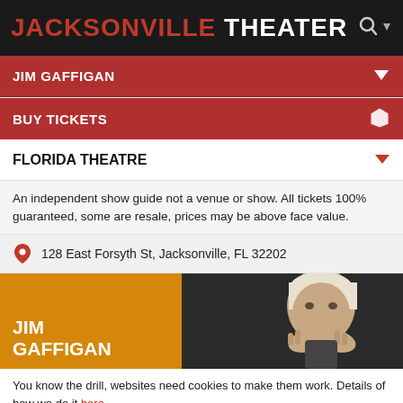JACKSONVILLE THEATER
JIM GAFFIGAN
BUY TICKETS
FLORIDA THEATRE
An independent show guide not a venue or show. All tickets 100% guaranteed, some are resale, prices may be above face value.
128 East Forsyth St, Jacksonville, FL 32202
[Figure (photo): Promotional image for Jim Gaffigan show. Left orange panel with 'JIM GAFFIGAN' text in white, right dark panel with photo of man (Jim Gaffigan) with hands raised near face.]
You know the drill, websites need cookies to make them work. Details of how we do it here.
Got it!